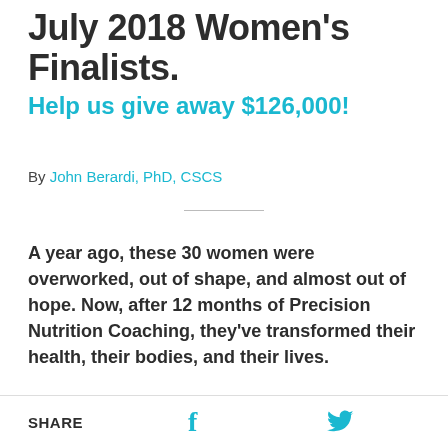July 2018 Women's Finalists.
Help us give away $126,000!
By John Berardi, PhD, CSCS
A year ago, these 30 women were overworked, out of shape, and almost out of hope. Now, after 12 months of Precision Nutrition Coaching, they've transformed their health, their bodies, and their lives.
SHARE